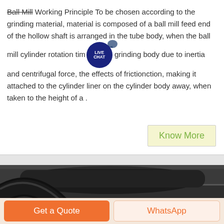Ball Mill Working Principle To be chosen according to the grinding material, material is composed of a ball mill feed end of the hollow shaft is arranged in the tube body, when the ball mill cylinder rotation tim grinding body due to inertia and centrifugal force, the effects of friction, making it attached to the cylinder liner on the cylinder body away, when taken to the height of a .
[Figure (other): Industrial machine/equipment photograph showing large pipes, ducts, and industrial machinery in a factory or workshop setting, in dark monochrome tones.]